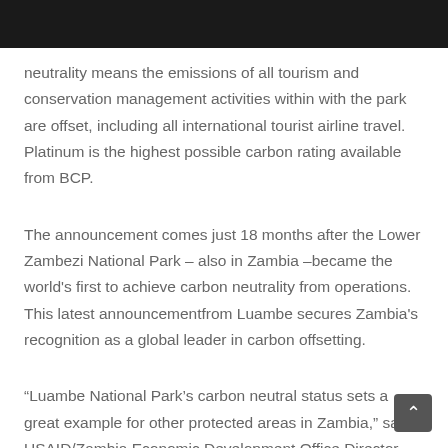neutrality means the emissions of all tourism and conservation management activities within with the park are offset, including all international tourist airline travel. Platinum is the highest possible carbon rating available from BCP.
The announcement comes just 18 months after the Lower Zambezi National Park – also in Zambia –became the world's first to achieve carbon neutrality from operations. This latest announcementfrom Luambe secures Zambia's recognition as a global leader in carbon offsetting.
“Luambe National Park’s carbon neutral status sets a great example for other protected areas in Zambia,” said USAID/Zambia Economic Development Office Director Jeremy Boley. “This status shows the world that Zambia